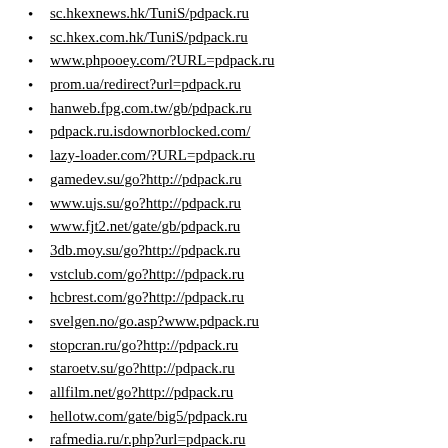sc.hkexnews.hk/TuniS/pdpack.ru
sc.hkex.com.hk/TuniS/pdpack.ru
www.phpooey.com/?URL=pdpack.ru
prom.ua/redirect?url=pdpack.ru
hanweb.fpg.com.tw/gb/pdpack.ru
pdpack.ru.isdownorblocked.com/
lazy-loader.com/?URL=pdpack.ru
gamedev.su/go?http://pdpack.ru
www.ujs.su/go?http://pdpack.ru
www.fjt2.net/gate/gb/pdpack.ru
3db.moy.su/go?http://pdpack.ru
vstclub.com/go?http://pdpack.ru
hcbrest.com/go?http://pdpack.ru
svelgen.no/go.asp?www.pdpack.ru
stopcran.ru/go?http://pdpack.ru
staroetv.su/go?http://pdpack.ru
allfilm.net/go?http://pdpack.ru
hellotw.com/gate/big5/pdpack.ru
rafmedia.ru/r.php?url=pdpack.ru